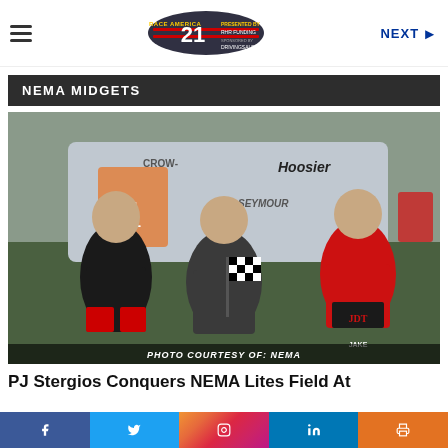NEXT
NEMA MIDGETS
[Figure (photo): Three racing drivers in racing suits standing in front of a midget race car. Left driver wears black and red suit, center driver holds a checkered flag in a gray suit, right driver wears a red JDT Racing suit with name JAKE. Text overlay at bottom: PHOTO COURTESY OF: NEMA]
PJ Stergios Conquers NEMA Lites Field At
Facebook Twitter Instagram LinkedIn Print